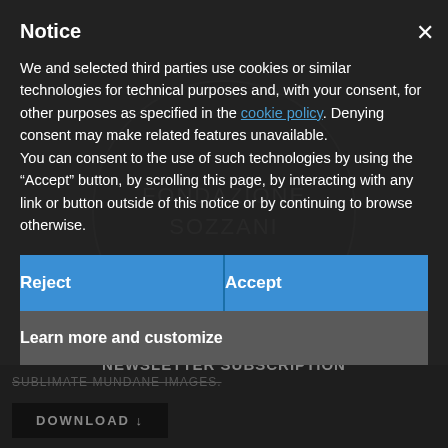[Figure (logo): Fondazione Sozzani circular logo watermark in dark background]
Notice
We and selected third parties use cookies or similar technologies for technical purposes and, with your consent, for other purposes as specified in the cookie policy. Denying consent may make related features unavailable.
You can consent to the use of such technologies by using the “Accept” button, by scrolling this page, by interacting with any link or button outside of this notice or by continuing to browse otherwise.
Reject
Accept
Learn more and customize
NEWSLETTER SUBSCRIPTION
SUBLIMATE MUNDANE IMAGES.
DOWNLOAD ↓